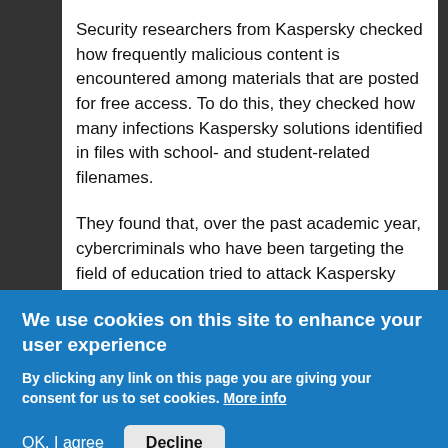Security researchers from Kaspersky checked how frequently malicious content is encountered among materials that are posted for free access. To do this, they checked how many infections Kaspersky solutions identified in files with school- and student-related filenames.
They found that, over the past academic year, cybercriminals who have been targeting the field of education tried to attack Kaspersky users more than 356,000 times in total. Of these, 233,000 cases were malicious essays that were downloaded to computers owned by more than 74,000 people and that
We use cookies on this site to enhance your user experience
By clicking any link on this page you are giving your consent for us to set cookies. More info
OK, I agree  Decline